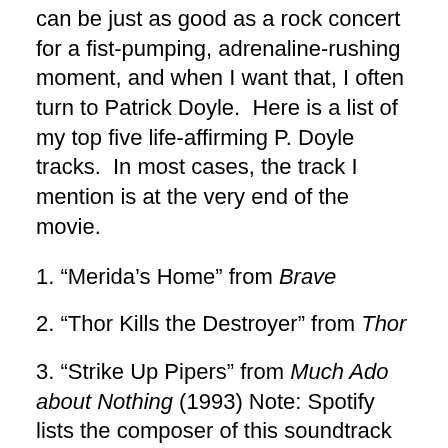can be just as good as a rock concert for a fist-pumping, adrenaline-rushing moment, and when I want that, I often turn to Patrick Doyle. Here is a list of my top five life-affirming P. Doyle tracks. In most cases, the track I mention is at the very end of the movie.
1. “Merida’s Home” from Brave
2. “Thor Kills the Destroyer” from Thor
3. “Strike Up Pipers” from Much Ado about Nothing (1993) Note: Spotify lists the composer of this soundtrack as “David Snell.” This is base slander. I have no idea who David Snell is.
4. something from Harry Potter and the Goblet of Fire. I couldn’t pick a favorite track here; they are all great. I love “Hogwarts’ Hymn,” from the credits, but it’s not quite the